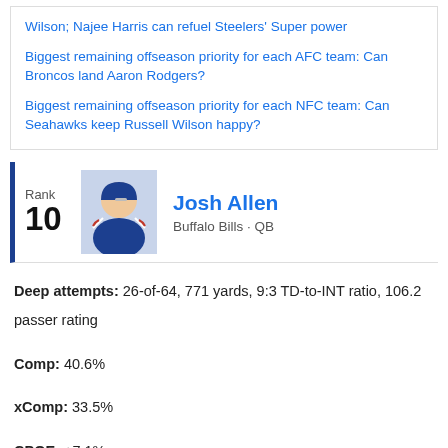Wilson; Najee Harris can refuel Steelers' Super power
Biggest remaining offseason priority for each AFC team: Can Broncos land Aaron Rodgers?
Biggest remaining offseason priority for each NFC team: Can Seahawks keep Russell Wilson happy?
Rank 10 Josh Allen Buffalo Bills · QB
Deep attempts: 26-of-64, 771 yards, 9:3 TD-to-INT ratio, 106.2 passer rating
Comp: 40.6%
xComp: 33.5%
CPOE: +7.1%
[Figure (other): Social share icons: Facebook, Twitter, Email, Link]